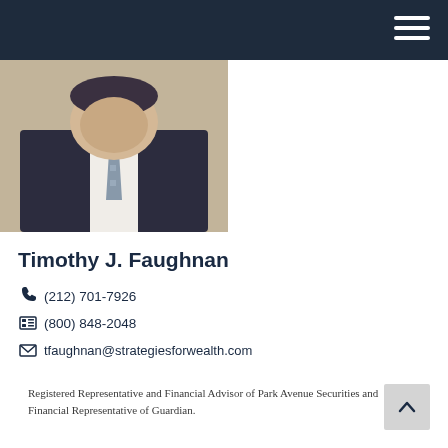[Figure (photo): Professional headshot of Timothy J. Faughnan wearing a dark suit and patterned tie]
Timothy J. Faughnan
(212) 701-7926
(800) 848-2048
tfaughnan@strategiesforwealth.com
Registered Representative and Financial Advisor of Park Avenue Securities and Financial Representative of Guardian.